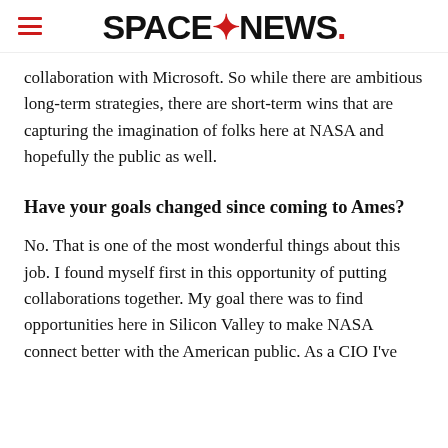SPACENEWS
collaboration with Microsoft. So while there are ambitious long-term strategies, there are short-term wins that are capturing the imagination of folks here at NASA and hopefully the public as well.
Have your goals changed since coming to Ames?
No. That is one of the most wonderful things about this job. I found myself first in this opportunity of putting collaborations together. My goal there was to find opportunities here in Silicon Valley to make NASA connect better with the American public. As a CIO I've